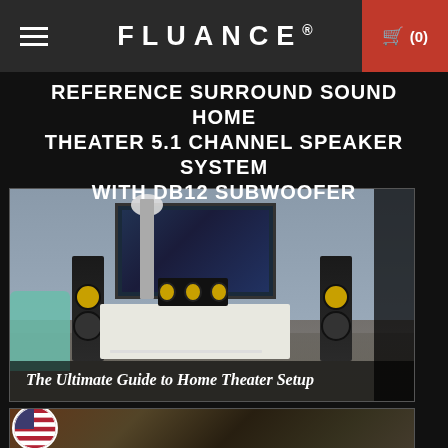FLUANCE. (0)
REFERENCE SURROUND SOUND HOME THEATER 5.1 CHANNEL SPEAKER SYSTEM WITH DB12 SUBWOOFER
[Figure (photo): Home theater room scene showing two tall floor-standing speakers flanking a wall-mounted TV, a center channel speaker on a white media console, a teal armchair on the left, and a floor lamp. Text overlay reads 'The Ultimate Guide to Home Theater Setup'.]
The Ultimate Guide to Home Theater Setup
[Figure (photo): Partial view of a second home theater or living room scene showing warm-toned interior, partially visible.]